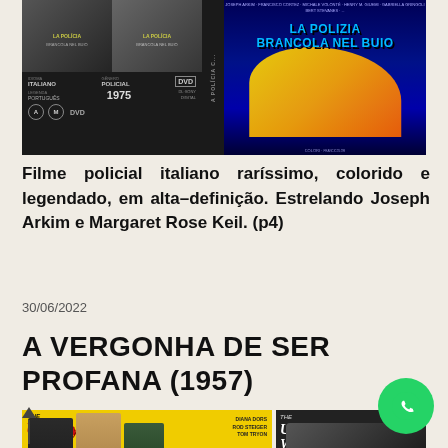[Figure (photo): DVD cover and movie poster for Italian police film 'La Polizia Brancola nel Buio' (1975) - left side shows DVD case with screenshots and info, right side shows Italian movie poster]
Filme policial italiano raríssimo, colorido e legendado, em alta-definição. Estrelando Joseph Arkim e Margaret Rose Keil. (p4)
30/06/2022
A VERGONHA DE SER PROFANA (1957)
[Figure (photo): DVD cover and movie poster for 'The Unholy Wife' (1957) - left shows yellow DVD cover with cast, right shows dark movie poster with romantic scene]